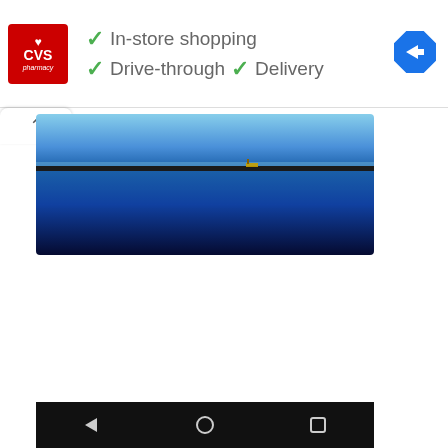[Figure (screenshot): CVS Pharmacy advertisement banner showing logo, checkmarks for In-store shopping, Drive-through, and Delivery, with a Google Maps navigation icon in the top right.]
[Figure (photo): Panoramic photo of a calm lake or bay at dusk/dawn with blue water and sky, a thin dark horizon line, and a small boat visible.]
[Figure (screenshot): Android navigation bar (black) with back triangle, home circle, and recents square buttons at the bottom of the screen.]